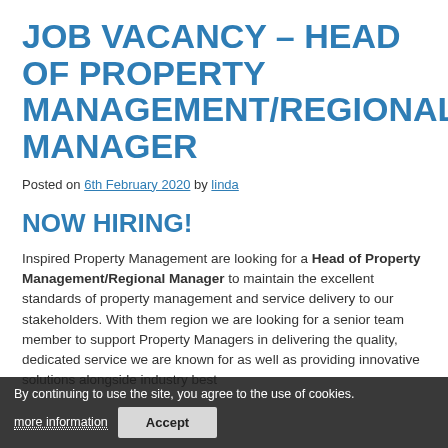JOB VACANCY – HEAD OF PROPERTY MANAGEMENT/REGIONAL MANAGER
Posted on 6th February 2020 by linda
NOW HIRING!
Inspired Property Management are looking for a Head of Property Management/Regional Manager to maintain the excellent standards of property management and service delivery to our stakeholders. With them region we are looking for a senior team member to support Property Managers in delivering the quality, dedicated service we are known for as well as providing innovative solutions alongside industry best
By continuing to use the site, you agree to the use of cookies. more information  Accept